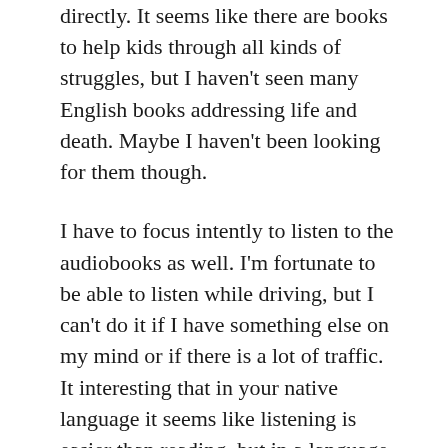directly. It seems like there are books to help kids through all kinds of struggles, but I haven't seen many English books addressing life and death. Maybe I haven't been looking for them though.
I have to focus intently to listen to the audiobooks as well. I'm fortunate to be able to listen while driving, but I can't do it if I have something else on my mind or if there is a lot of traffic. It interesting that in your native language it seems like listening is easier than reading, but in a language acquired later reading seems easier than listening.
Comments are closed